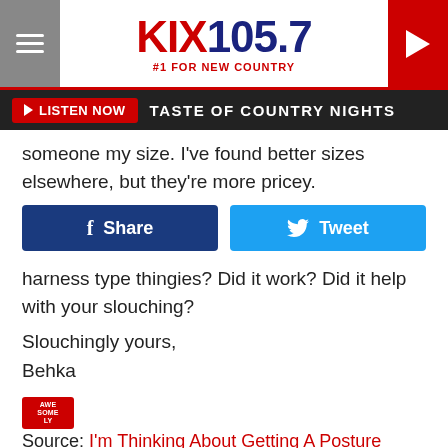KIX 105.7 #1 FOR NEW COUNTRY
LISTEN NOW ▶  TASTE OF COUNTRY NIGHTS
someone my size.  I've found better sizes elsewhere, but they're more pricey.
Share  Tweet
harness type thingies?  Did it work?  Did it help with your slouching?
Slouchingly yours,
Behka
Source: I'm Thinking About Getting A Posture Correction Device
Filed Under: Computers, Health, Internet, work